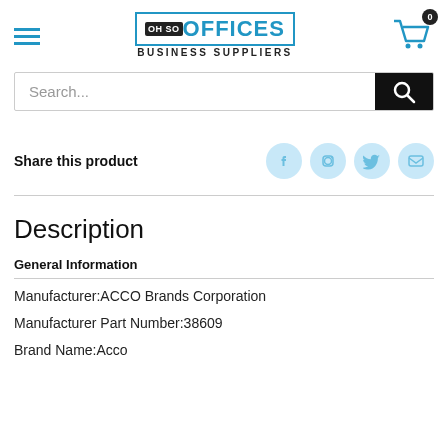[Figure (logo): Oh So Offices Business Suppliers logo with hamburger menu and cart icon]
Search...
Share this product
Description
General Information
Manufacturer:ACCO Brands Corporation
Manufacturer Part Number:38609
Brand Name:Acco